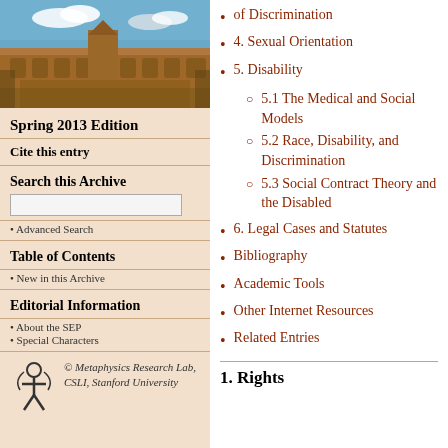[Figure (photo): Photograph of a historic stone university building (likely Stanford or similar) with Gothic architecture, arches, and a blue sky with clouds]
Spring 2013 Edition
Cite this entry
Search this Archive
Advanced Search
Table of Contents
New in this Archive
Editorial Information
About the SEP
Special Characters
[Figure (logo): Metaphysics Research Lab logo — stylized figure/symbol in dark]
© Metaphysics Research Lab, CSLI, Stanford University
of Discrimination
4. Sexual Orientation
5. Disability
5.1 The Medical and Social Models
5.2 Race, Disability, and Discrimination
5.3 Social Contract Theory and the Disabled
6. Legal Cases and Statutes
Bibliography
Academic Tools
Other Internet Resources
Related Entries
1. Rights